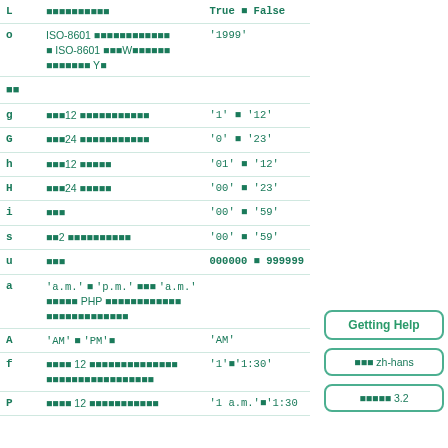| Key | Description | Value |
| --- | --- | --- |
| L | [placeholder chars] | True [sq] False |
| o | ISO-8601 [placeholder chars] / ISO-8601 [chars]W[chars] / [chars] Y[sq] | '1999' |
| [section] |  |  |
| g | [chars]12 [placeholder chars] | '1' [sq] '12' |
| G | [chars]24 [placeholder chars] | '0' [sq] '23' |
| h | [chars]12 [chars] | '01' [sq] '12' |
| H | [chars]24 [chars] | '00' [sq] '23' |
| i | [chars] | '00' [sq] '59' |
| s | [chars]2 [placeholder chars] | '00' [sq] '59' |
| u | [chars] | 000000 [sq] 999999 |
| a | 'a.m.' [sq] 'p.m.' [chars] 'a.m.' / [chars] PHP [placeholder chars] | 'a.m.' |
| A | 'AM' [sq] 'PM'[sq] | 'AM' |
| f | [chars] 12 [placeholder chars] / [placeholder chars] | '1'[sq]'1:30' |
| P | [chars] 12 [placeholder chars] | '1 a.m.'[sq]'1:30 |
[Figure (other): Getting Help button (rounded rectangle with teal border)]
[Figure (other): zh-hans locale button (rounded rectangle with teal border)]
[Figure (other): Version 3.2 button (rounded rectangle with teal border)]